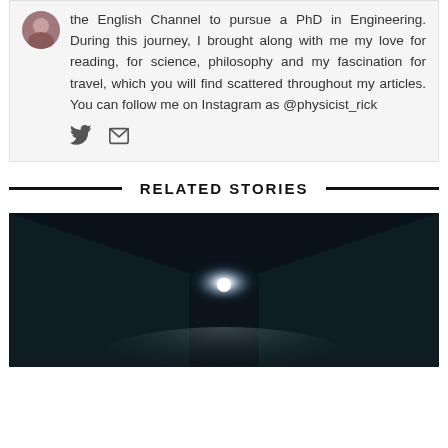the English Channel to pursue a PhD in Engineering. During this journey, I brought along with me my love for reading, for science, philosophy and my fascination for travel, which you will find scattered throughout my articles. You can follow me on Instagram as @physicist_rick
[Figure (illustration): Author avatar circular photo]
[Figure (illustration): Twitter bird icon and email envelope icon social links]
RELATED STORIES
[Figure (photo): Dark tunnel or road with a bright light in the center distance]